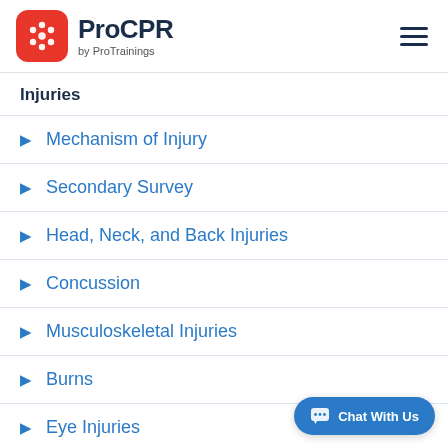ProCPR by ProTrainings
Injuries
Mechanism of Injury
Secondary Survey
Head, Neck, and Back Injuries
Concussion
Musculoskeletal Injuries
Burns
Eye Injuries
Sudden Illness
Chat With Us